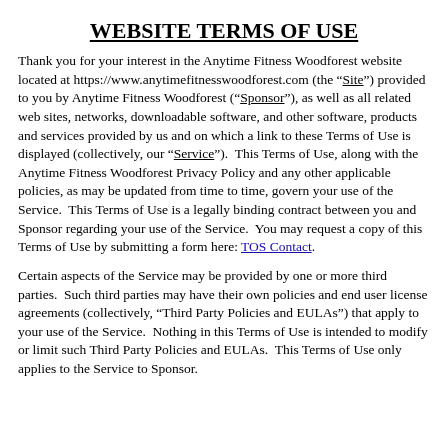WEBSITE TERMS OF USE
Thank you for your interest in the Anytime Fitness Woodforest website located at https://www.anytimefitnesswoodforest.com (the “Site”) provided to you by Anytime Fitness Woodforest (“Sponsor”), as well as all related web sites, networks, downloadable software, and other software, products and services provided by us and on which a link to these Terms of Use is displayed (collectively, our “Service”).  This Terms of Use, along with the Anytime Fitness Woodforest Privacy Policy and any other applicable policies, as may be updated from time to time, govern your use of the Service.  This Terms of Use is a legally binding contract between you and Sponsor regarding your use of the Service.  You may request a copy of this Terms of Use by submitting a form here: TOS Contact.
Certain aspects of the Service may be provided by one or more third parties.  Such third parties may have their own policies and end user license agreements (collectively, “Third Party Policies and EULAs”) that apply to your use of the Service.  Nothing in this Terms of Use is intended to modify or limit such Third Party Policies and EULAs.  This Terms of Use only applies to the Service to Sponsor.